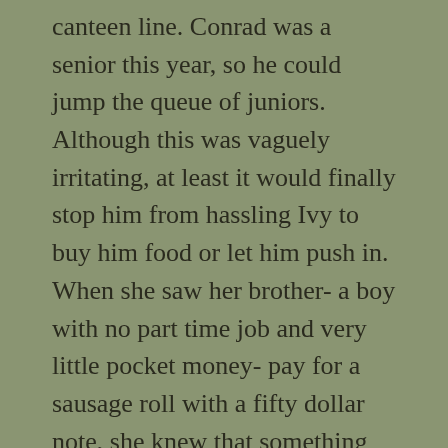canteen line. Conrad was a senior this year, so he could jump the queue of juniors. Although this was vaguely irritating, at least it would finally stop him from hassling Ivy to buy him food or let him push in. When she saw her brother- a boy with no part time job and very little pocket money- pay for a sausage roll with a fifty dollar note, she knew that something odd was going on. Like a good spy, she pretended not to notice. She also pretended not to notice when he gave his mate Riley a twenty and worked even harder to contain herself when she saw him put the rest of the money back into...